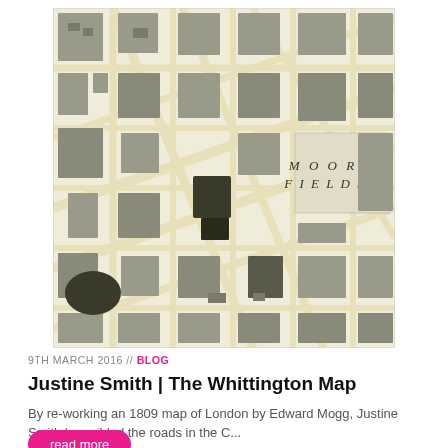[Figure (map): Detailed historical map of London, showing street layout and city blocks, with 'MOOR FIELDS' labeled in upper right, beige/cream background with grey buildings, circa 1809 Edward Mogg map style.]
9TH MARCH 2016 // BLOG
Justine Smith | The Whittington Map
By re-working an 1809 map of London by Edward Mogg, Justine Smith has gilded the roads in the C...
read more